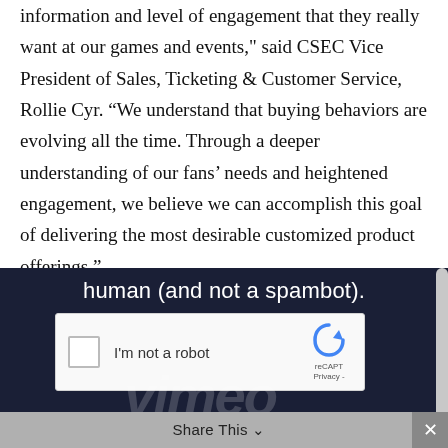information and level of engagement that they really want at our games and events," said CSEC Vice President of Sales, Ticketing & Customer Service, Rollie Cyr. “We understand that buying behaviors are evolving all the time. Through a deeper understanding of our fans’ needs and heightened engagement, we believe we can accomplish this goal of delivering the most desirable customized product offerings.”
[Figure (screenshot): Screenshot of a dark navy background webpage showing a reCAPTCHA widget with 'I'm not a robot' checkbox and partial Vimeo logo watermark, with a share bar at the bottom]